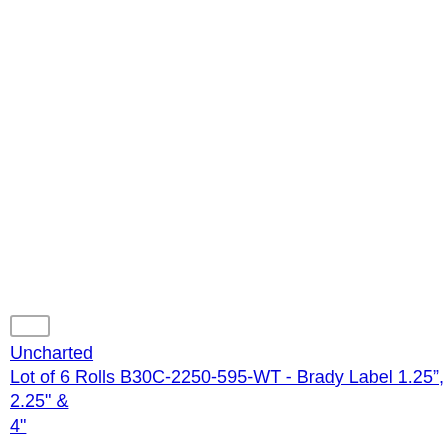Uncharted
Lot of 6 Rolls B30C-2250-595-WT - Brady Label 1.25”, 2.25" & 4"